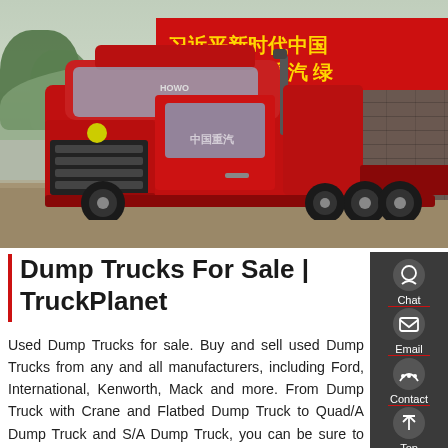[Figure (photo): A red SINOTRUK HOWO heavy-duty tractor truck parked on a paved area, with green trees and hills in the background and a red Chinese banner with yellow characters visible on the right side.]
Dump Trucks For Sale | TruckPlanet
Used Dump Trucks for sale. Buy and sell used Dump Trucks from any and all manufacturers, including Ford, International, Kenworth, Mack and more. From Dump Truck with Crane and Flatbed Dump Truck to Quad/A Dump Truck and S/A Dump Truck, you can be sure to find exactly what you need. If you are looking for a used Dump Trucks, be sure to check out